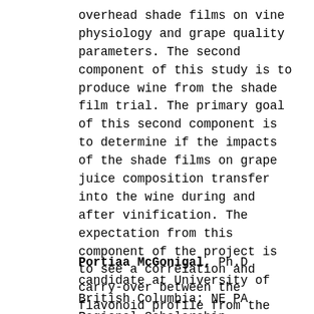overhead shade films on vine physiology and grape quality parameters. The second component of this study is to produce wine from the shade film trial. The primary goal of this second component is to determine if the impacts of the shade films on grape juice composition transfer into the wine during and after vinification. The expectation from this component of the project is to see a correlation and carry-over between the flavonoid profile from the berry skins at harvest and the final wines under each shading treatment.
Portiaa McGonigal, Ph.D candidate at University of British Columbia; NE PA Regional Scholarship.